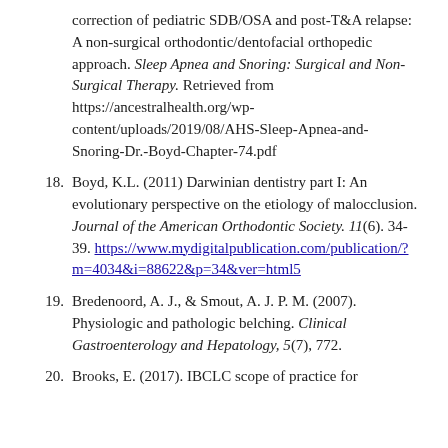(continued from previous item) correction of pediatric SDB/OSA and post-T&A relapse: A non-surgical orthodontic/dentofacial orthopedic approach. Sleep Apnea and Snoring: Surgical and Non-Surgical Therapy. Retrieved from https://ancestralhealth.org/wp-content/uploads/2019/08/AHS-Sleep-Apnea-and-Snoring-Dr.-Boyd-Chapter-74.pdf
18. Boyd, K.L. (2011) Darwinian dentistry part I: An evolutionary perspective on the etiology of malocclusion. Journal of the American Orthodontic Society. 11(6). 34-39. https://www.mydigitalpublication.com/publication/?m=4034&i=88622&p=34&ver=html5
19. Bredenoord, A. J., & Smout, A. J. P. M. (2007). Physiologic and pathologic belching. Clinical Gastroenterology and Hepatology, 5(7), 772.
20. Brooks, E. (2017). IBCLC scope of practice for